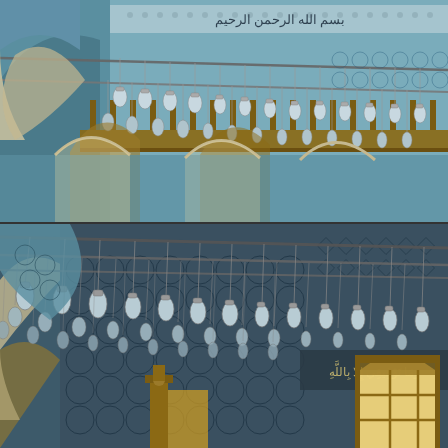[Figure (photo): Interior of a mosque (likely Rüstem Pasha Mosque, Istanbul) showing two stacked photographic views. Both images depict the ornate interior covered in blue and white Iznik tiles with intricate floral and geometric patterns. Hanging glass oil lamps (kandils) are suspended from horizontal rods across the ceiling. Wooden galleries with carved balustrades are visible. Arabic calligraphy inscriptions appear on friezes. Arched doorways and windows with wooden grilles are visible. The upper photo shows the upper gallery level in daylight with blue tile walls; the lower photo shows a closer ground-level view with darker tiles and a doorway letting in bright light.]